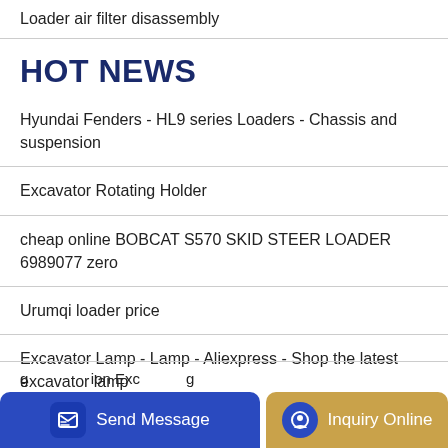Loader air filter disassembly
HOT NEWS
Hyundai Fenders - HL9 series Loaders - Chassis and suspension
Excavator Rotating Holder
cheap online BOBCAT S570 SKID STEER LOADER 6989077 zero
Urumqi loader price
Excavator Lamp - Lamp - Aliexpress - Shop the latest excavator lamp
…ion Exc…
[Figure (other): Bottom bar with Send Message button (blue) and Inquiry Online button (gold/tan)]